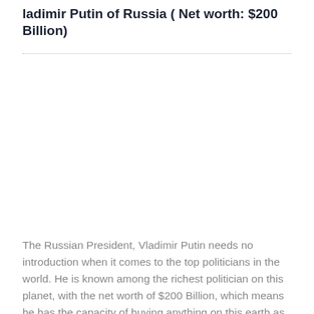ladimir Putin of Russia ( Net worth: $200 Billion)
[Figure (photo): Photo of Vladimir Putin (image area, content not visible)]
The Russian President, Vladimir Putin needs no introduction when it comes to the top politicians in the world. He is known among the richest politician on this planet, with the net worth of $200 Billion, which means he has the capacity of buying anything on this earth as he wishes for. He was elected as the President of Russia